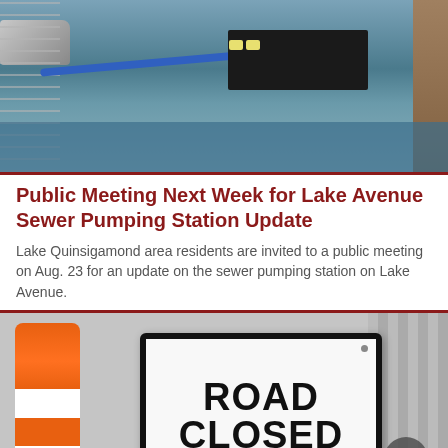[Figure (photo): A large truck driving through flooded waters near a chain-link fence, with a blue hose visible and a wooden wall on the right side.]
Public Meeting Next Week for Lake Avenue Sewer Pumping Station Update
Lake Quinsigamond area residents are invited to a public meeting on Aug. 23 for an update on the sewer pumping station on Lake Avenue.
[Figure (photo): A white Road Closed sign with bold black text reading ROAD CLOSED, flanked by orange construction barrels and traffic cones, with buildings visible in the background. A faint reflection of CLOSED is visible below the sign.]
Weekend Traffic Advisory: Streets Closed for Latin